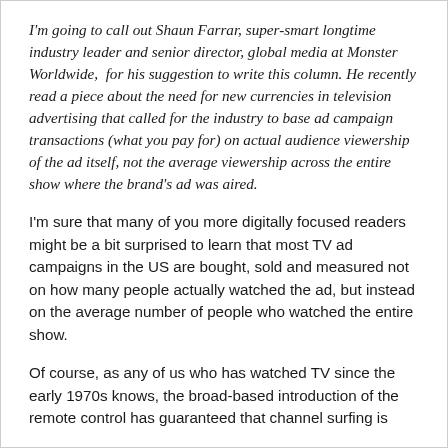I'm going to call out Shaun Farrar, super-smart longtime industry leader and senior director, global media at Monster Worldwide,  for his suggestion to write this column. He recently read a piece about the need for new currencies in television advertising that called for the industry to base ad campaign transactions (what you pay for) on actual audience viewership of the ad itself, not the average viewership across the entire show where the brand's ad was aired.
I'm sure that many of you more digitally focused readers might be a bit surprised to learn that most TV ad campaigns in the US are bought, sold and measured not on how many people actually watched the ad, but instead on the average number of people who watched the entire show.
Of course, as any of us who has watched TV since the early 1970s knows, the broad-based introduction of the remote control has guaranteed that channel surfing is